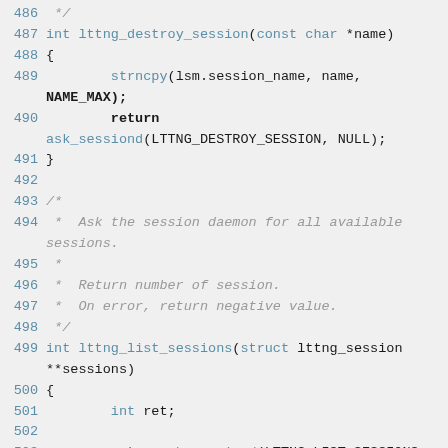[Figure (screenshot): Source code listing in C showing lttng_destroy_session and lttng_list_sessions functions with line numbers 486-505, syntax highlighted in monospace font on light gray background.]